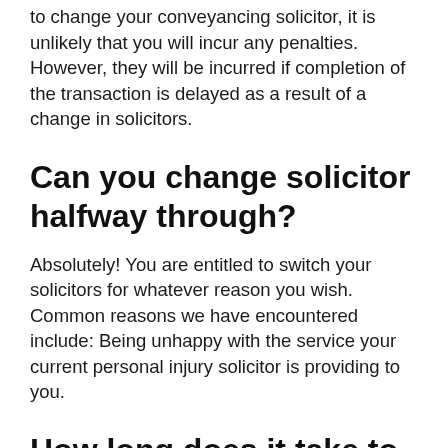to change your conveyancing solicitor, it is unlikely that you will incur any penalties. However, they will be incurred if completion of the transaction is delayed as a result of a change in solicitors.
Can you change solicitor halfway through?
Absolutely! You are entitled to switch your solicitors for whatever reason you wish. Common reasons we have encountered include: Being unhappy with the service your current personal injury solicitor is providing to you.
How long does it take to